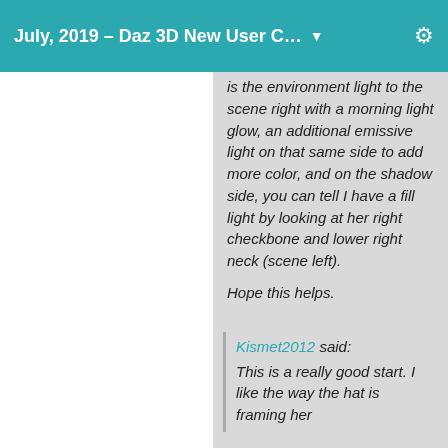July, 2019 – Daz 3D New User C... ▼
is the environment light to the scene right with a morning light glow, an additional emissive light on that same side to add more color, and on the shadow side, you can tell I have a fill light by looking at her right checkbone and lower right neck (scene left).

Hope this helps.
Kismet2012 said:
This is a really good start. I like the way the hat is framing her